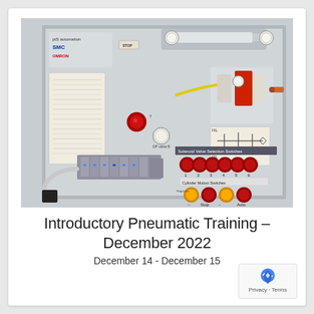[Figure (photo): Pneumatic training panel with SMC and OMRON branding, featuring solenoid valve selection switches (red buttons labeled 1-6), cylinder motion switches (yellow and red buttons), pressure gauges, FRL unit, pneumatic cylinder, various valves, tubing connections, and a wiring schematic on the panel surface.]
Introductory Pneumatic Training – December 2022
December 14 - December 15